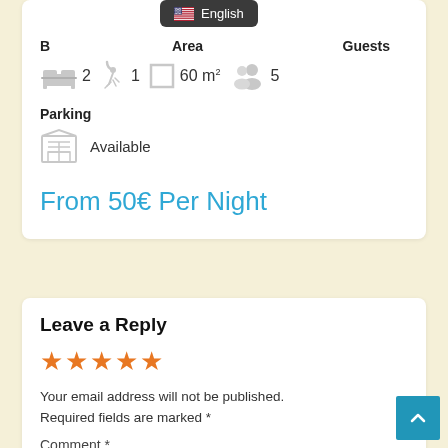[Figure (screenshot): Language selector button showing US flag and 'English' label on dark background]
Bedrooms  Area  Guests
2  1  60 m²  5
Parking
Available
From 50€ Per Night
Leave a Reply
[Figure (other): Five orange star rating icons]
Your email address will not be published. Required fields are marked *
Comment *